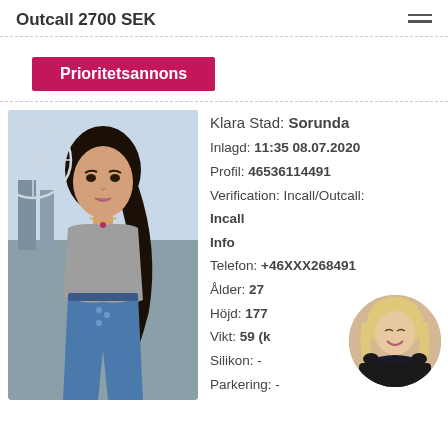Outcall 2700 SEK
Prioritetsannons
[Figure (photo): Young woman with long dark hair wearing a grey crop top and blue jeans, standing outdoors near a ferris wheel.]
Klara Stad: Sorunda
Inlagd: 11:35 08.07.2020
Profil: 46536114491
Verification: Incall/Outcall:
Incall
Info
Telefon: +46XXX268491
Ålder: 27
Höjd: 177
Vikt: 59 (k
Silikon: -
Parkering: -
[Figure (photo): Round avatar photo of a blonde woman smiling, wearing dark clothing.]